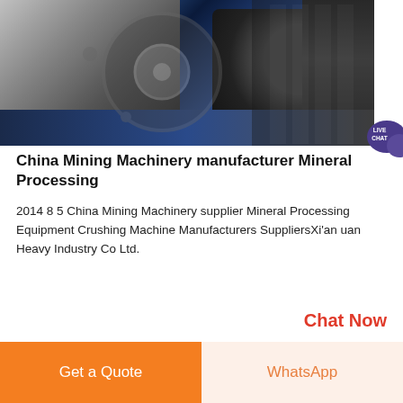[Figure (photo): Close-up photo of industrial mining machinery gear/coupling components, metallic parts on a blue-toned workshop floor]
[Figure (illustration): Live Chat speech bubble badge in teal/purple color with text LIVE CHAT]
China Mining Machinery manufacturer Mineral Processing
2014 8 5 China Mining Machinery supplier Mineral Processing Equipment Crushing Machine Manufacturers SuppliersXi'an uan Heavy Industry Co Ltd.
Chat Now
[Figure (photo): Partial view of industrial building/factory interior with steel structures visible at bottom of page]
Get a Quote
WhatsApp